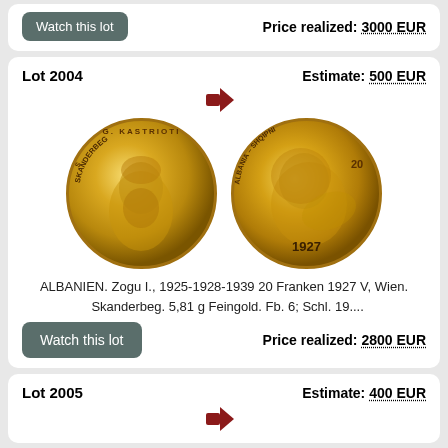Price realized: 3000 EUR
Lot 2004
Estimate: 500 EUR
[Figure (photo): Two gold coins: obverse showing Skanderbeg portrait with text G. KASTRIOTI SKANDERBEG, reverse showing Albanian lion with text ALBANIA-SHQIPNI 20 and date 1927]
ALBANIEN. Zogu I., 1925-1928-1939 20 Franken 1927 V, Wien. Skanderbeg. 5,81 g Feingold. Fb. 6; Schl. 19....
Watch this lot
Price realized: 2800 EUR
Lot 2005
Estimate: 400 EUR